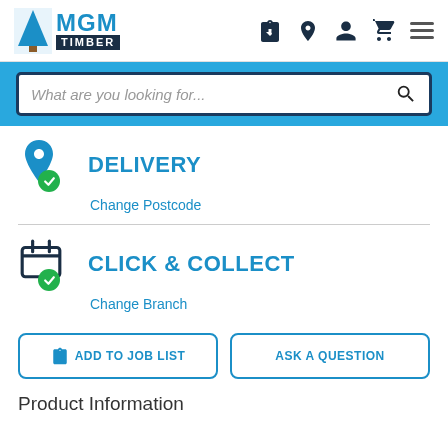[Figure (logo): MGM Timber logo with tree icon, blue MGM text and dark navy TIMBER text on black background]
[Figure (screenshot): Header navigation icons: job list clipboard with heart, location pin, user account, shopping cart, hamburger menu]
[Figure (screenshot): Search bar with placeholder text 'What are you looking for...' and search magnifier icon on blue background]
DELIVERY
Change Postcode
CLICK & COLLECT
Change Branch
ADD TO JOB LIST
ASK A QUESTION
Product Information